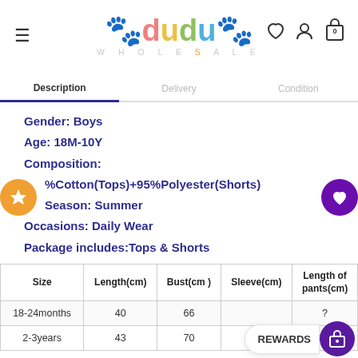[Figure (logo): Dudu Wholesale logo with colorful letters and paw prints]
Description | Delivery | Condition
Gender: Boys
Age: 18M-10Y
Composition:
%Cotton(Tops)+95%Polyester(Shorts)
Season: Summer
Occasions: Daily Wear
Package includes:Tops & Shorts
| Size | Length(cm) | Bust(cm) | Sleeve(cm) | Length of pants(cm) |
| --- | --- | --- | --- | --- |
| 18-24months | 40 | 66 |  | ? |
| 2-3years | 43 | 70 | 14.5 | 35 |